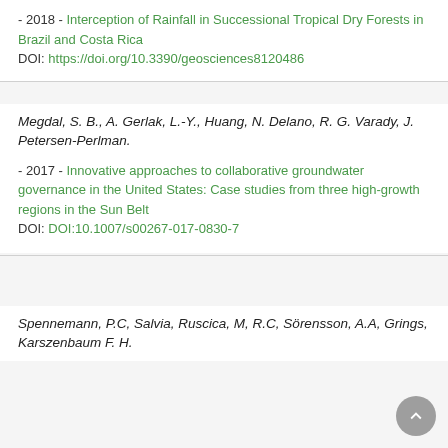- 2018 - Interception of Rainfall in Successional Tropical Dry Forests in Brazil and Costa Rica DOI: https://doi.org/10.3390/geosciences8120486
Megdal, S. B., A. Gerlak, L.-Y., Huang, N. Delano, R. G. Varady, J. Petersen-Perlman.
- 2017 - Innovative approaches to collaborative groundwater governance in the United States: Case studies from three high-growth regions in the Sun Belt DOI: DOI:10.1007/s00267-017-0830-7
Spennemann, P.C, Salvia, Ruscica, M, R.C, Sörensson, A.A, Grings, Karszenbaum F. H.